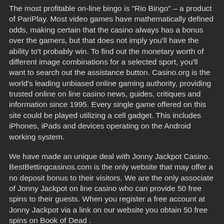The most profitable on-line bingo is "Rio Bingo" – a product of PariPlay. Most video games have mathematically defined odds, making certain that the casino always has a bonus over the gamers, but that does not imply you'll have the ability to't probably win. To find out the monetary worth of different image combinations for a selected sport, you'll want to search out the assistance button. Casino.org is the world's leading unbiased online gaming authority, providing trusted online on line casino news, guides, critiques and information since 1995. Every single game offered on this site could be played utilizing a cell gadget. This includes iPhones, iPads and devices operating on the Android working system.
We have made an unique deal with Jonny Jackpot Casino. BestBettingcasinos.com is the only website that may offer a no deposit bonus to their visitors. We are the only associate of Jonny Jackpot on line casino who can provide 50 free spins to their guests. When you register a free account at Jonny Jackpot via a link on our website you obtain 50 free spins on Book of Dead .
Jackpot slots game free give the very best payouts but have low RTP. There is not any definitive technique applicable to all titles. Everything is dependent upon luck, and gamers can't predict the